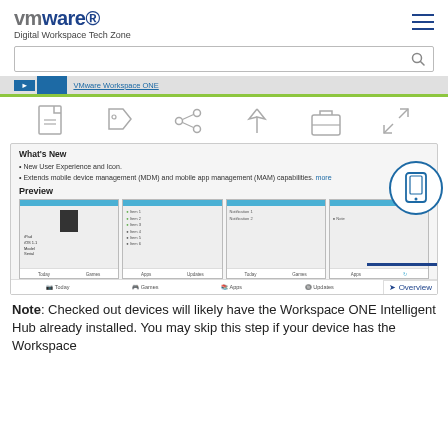vmware Digital Workspace Tech Zone
[Figure (screenshot): VMware Digital Workspace Tech Zone website screenshot showing search bar, navigation tabs with VMware Workspace ONE active, toolbar icons (PDF, tag, share, pin, briefcase, expand), a content preview panel showing What's New section and Preview screenshots of the Workspace ONE Intelligent Hub app, and a note text below]
Note: Checked out devices will likely have the Workspace ONE Intelligent Hub already installed. You may skip this step if your device has the Workspace